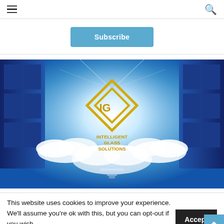≡  🔍
Subscribe
[Figure (logo): Intelligent Glass Solutions advertisement banner. Deep blue background with open glass doors, clouds and light beams in the center. Gold diamond-shaped logo with stylized 'IG' letters in the middle. Below the logo: text 'INTELLIGENT GLASS SOLUTIONS' in gold/dark yellow letters.]
This website uses cookies to improve your experience. We'll assume you're ok with this, but you can opt-out if you wish.
Accept